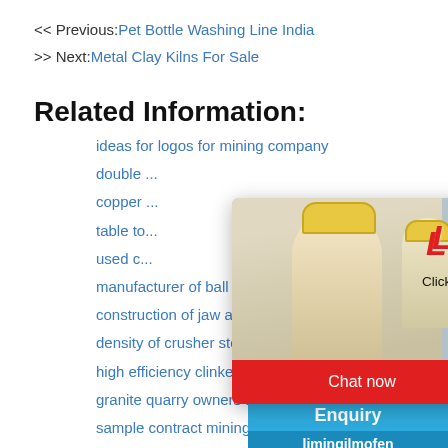<< Previous: Pet Bottle Washing Line India
>> Next: Metal Clay Kilns For Sale
Related Information:
ideas for logos for mining company
double ...
copper ...
table to...
used c...
manufacturer of ball mill in japan
construction of jaw amp b gyratory
density of crusher stone dust
high efficiency clinker cone crusher supplier
granite quarry owners association i...
sample contract mining agreement ...
doble volante trituradora de palanca...
[Figure (screenshot): Live Chat popup modal with workers in hard hats, red LIVE CHAT text, 'Click for a Free Consultation', Chat now and Chat later buttons]
[Figure (screenshot): Right sidebar with blue background showing crusher machine image, 'hour online' text, 'Click me to chat>>' button, 'Enquiry' and 'limingjlmofen' sections]